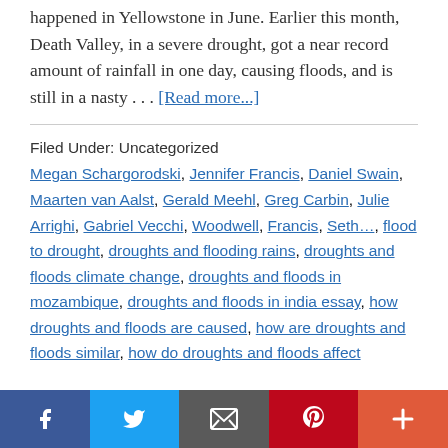happened in Yellowstone in June. Earlier this month, Death Valley, in a severe drought, got a near record amount of rainfall in one day, causing floods, and is still in a nasty … [Read more...]
Filed Under: Uncategorized
Megan Schargorodski, Jennifer Francis, Daniel Swain, Maarten van Aalst, Gerald Meehl, Greg Carbin, Julie Arrighi, Gabriel Vecchi, Woodwell, Francis, Seth…, flood to drought, droughts and flooding rains, droughts and floods climate change, droughts and floods in mozambique, droughts and floods in india essay, how droughts and floods are caused, how are droughts and floods similar, how do droughts and floods affect
[Figure (other): Social sharing bar with Facebook, Twitter, Email, Pinterest, and More buttons]